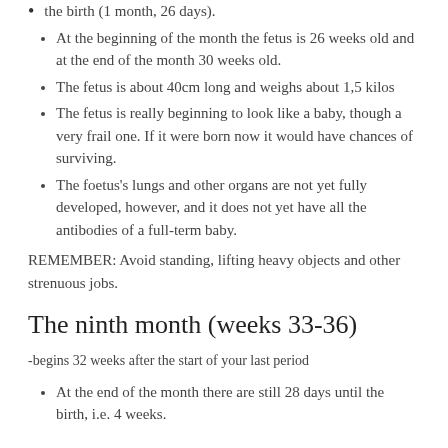the birth (1 month, 26 days).
At the beginning of the month the fetus is 26 weeks old and at the end of the month 30 weeks old.
The fetus is about 40cm long and weighs about 1,5 kilos
The fetus is really beginning to look like a baby, though a very frail one. If it were born now it would have chances of surviving.
The foetus's lungs and other organs are not yet fully developed, however, and it does not yet have all the antibodies of a full-term baby.
REMEMBER: Avoid standing, lifting heavy objects and other strenuous jobs.
The ninth month (weeks 33-36)
-begins 32 weeks after the start of your last period
At the end of the month there are still 28 days until the birth, i.e. 4 weeks.